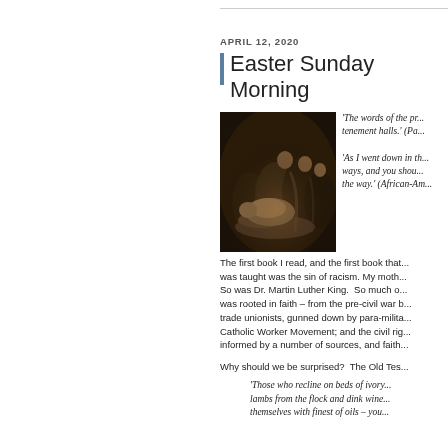APRIL 12, 2020
Easter Sunday Morning
[Figure (photo): A dark classical painting depicting a group of robed figures gathered around a reclining figure, possibly a biblical resurrection scene.]
'The words of the pr... tenement halls.' (Pa...
'As I went down in th... ways, and you shou... the way.' (African-Am...
The first book I read, and the first book that... was taught was the sin of racism. My moth... So was Dr. Martin Luther King. So much o... was rooted in faith – from the pre-civil war b... trade unionists, gunned down by para-milita... Catholic Worker Movement; and the civil rig... informed by a number of sources, and faith...
Why should we be surprised? The Old Tes...
'Those who recline on beds of ivory... lambs from the flock and dink wine... themselves with finest of oils – you...